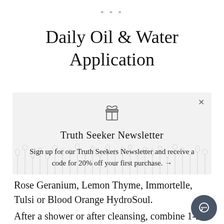***
Daily Oil & Water Application
[Figure (infographic): Newsletter popup overlay with gift box icon, title 'Truth Seeker Newsletter', and signup text with botanical illustration background]
Rose Geranium, Lemon Thyme, Immortelle, Tulsi or Blood Orange HydroSoul.
After a shower or after cleansing, combine 1-2